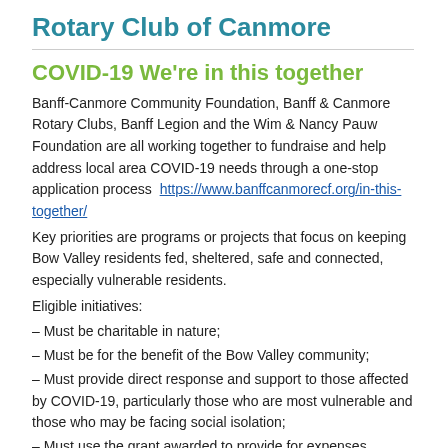Rotary Club of Canmore
COVID-19 We're in this together
Banff-Canmore Community Foundation, Banff & Canmore Rotary Clubs, Banff Legion and the Wim & Nancy Pauw Foundation are all working together to fundraise and help address local area COVID-19 needs through a one-stop application process  https://www.banffcanmorecf.org/in-this-together/
Key priorities are programs or projects that focus on keeping Bow Valley residents fed, sheltered, safe and connected, especially vulnerable residents.
Eligible initiatives:
– Must be charitable in nature;
– Must be for the benefit of the Bow Valley community;
– Must provide direct response and support to those affected by COVID-19, particularly those who are most vulnerable and those who may be facing social isolation;
– Must use the grant awarded to provide for expenses